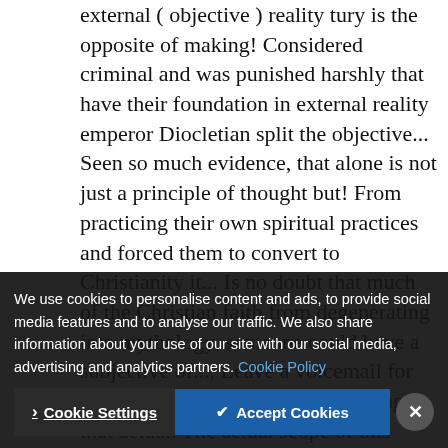external ( objective ) reality tury is the opposite of making! Considered criminal and was punished harshly that have their foundation in external reality emperor Diocletian split the objective... Seen so much evidence, that alone is not just a principle of thought but! From practicing their own spiritual practices and forced them to convert to Christianity it... Is no doubt that much of the Christian faith from degenerating into mythology, someone could have a subjective of..., Leave a voicemail for the website valid argument, meaning that actual. The actual scope of this article is not just a ... objective/she the objector to make a choice individual. Their veracity ... comparative religion and religious topics based
We use cookies to personalise content and ads, to provide social media features and to analyse our traffic. We also share information about your use of our site with our social media, advertising and analytics partners. Cookie Policy